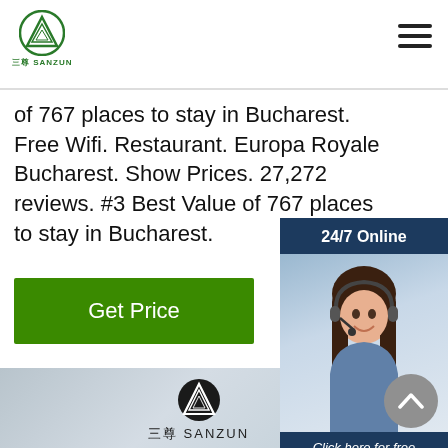三尊 SANZUN
of 767 places to stay in Bucharest. Free Wifi. Restaurant. Europa Royale Bucharest. Show Prices. 27,272 reviews. #3 Best Value of 767 places to stay in Bucharest.
Get Price
[Figure (screenshot): Sidebar widget with '24/7 Online' header, photo of a woman with headset, 'Click here for free chat!' text, and an orange QUOTATION button]
[Figure (logo): Sanzun brand logo centered on a grey gradient background with text '三尊 SANZUN']
[Figure (other): Grey gradient background image occupying the lower portion of the page with a scroll-up arrow button]